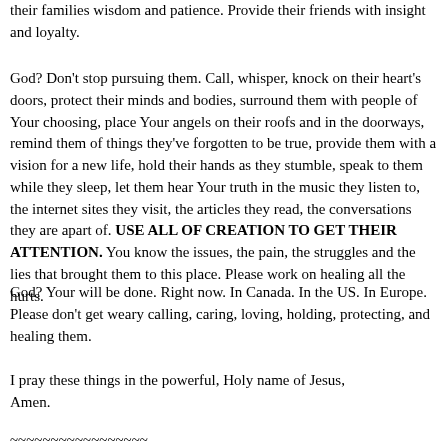their families wisdom and patience. Provide their friends with insight and loyalty.
God? Don't stop pursuing them. Call, whisper, knock on their heart's doors, protect their minds and bodies, surround them with people of Your choosing, place Your angels on their roofs and in the doorways, remind them of things they've forgotten to be true, provide them with a vision for a new life, hold their hands as they stumble, speak to them while they sleep, let them hear Your truth in the music they listen to, the internet sites they visit, the articles they read, the conversations they are apart of. USE ALL OF CREATION TO GET THEIR ATTENTION. You know the issues, the pain, the struggles and the lies that brought them to this place. Please work on healing all the hurts.
God? Your will be done. Right now. In Canada. In the US. In Europe. Please don't get weary calling, caring, loving, holding, protecting, and healing them.
I pray these things in the powerful, Holy name of Jesus,
Amen.
~~~~~~~~~~~~~~~~~